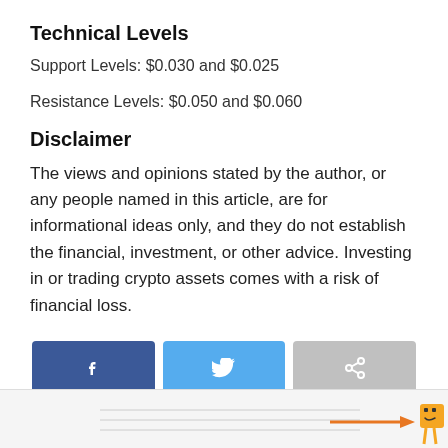Technical Levels
Support Levels: $0.030 and $0.025
Resistance Levels: $0.050 and $0.060
Disclaimer
The views and opinions stated by the author, or any people named in this article, are for informational ideas only, and they do not establish the financial, investment, or other advice. Investing in or trading crypto assets comes with a risk of financial loss.
[Figure (other): Three social sharing buttons: Facebook (blue), Twitter (light blue), Share (gray)]
[Figure (other): Bottom strip with orange arrow and illustrated character icon]